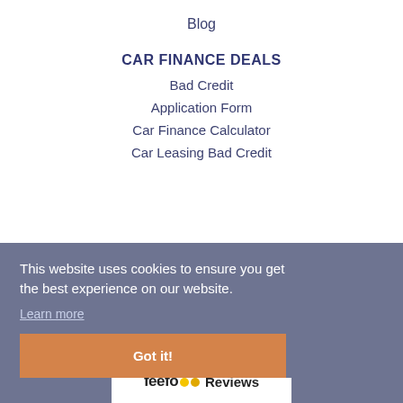Blog
CAR FINANCE DEALS
Bad Credit
Application Form
Car Finance Calculator
Car Leasing Bad Credit
LEGAL
Privacy Policy
Cookie Notice
Terms & Conditions
Treating Customers Fairly
This website uses cookies to ensure you get the best experience on our website.
Learn more
Got it!
feefo Reviews